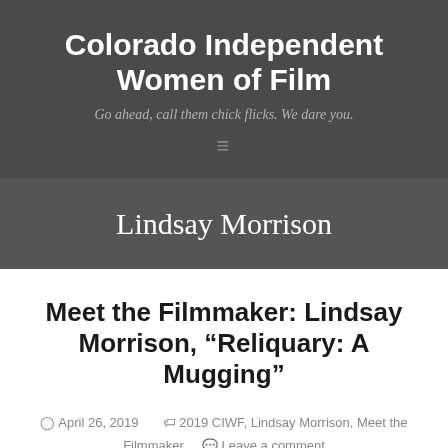Colorado Independent Women of Film
Go ahead, call them chick flicks. We dare you.
Lindsay Morrison
Meet the Filmmaker: Lindsay Morrison, “Reliquary: A Mugging”
April 26, 2019  2019 CIWF, Lindsay Morrison, Meet the Filmmaker  Leave a comment